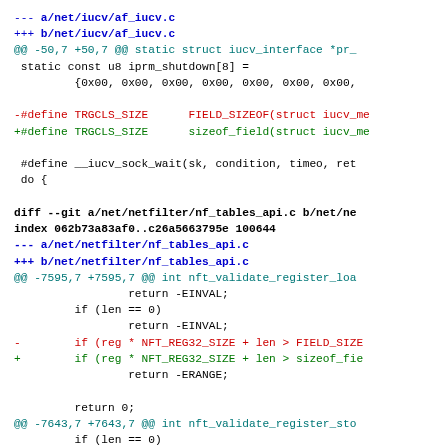--- a/net/iucv/af_iucv.c
+++ b/net/iucv/af_iucv.c
@@ -50,7 +50,7 @@ static struct iucv_interface *pr_
 static const u8 iprm_shutdown[8] =
         {0x00, 0x00, 0x00, 0x00, 0x00, 0x00, 0x00,

-#define TRGCLS_SIZE      FIELD_SIZEOF(struct iucv_me
+#define TRGCLS_SIZE      sizeof_field(struct iucv_me

 #define __iucv_sock_wait(sk, condition, timeo, ret
 do {

diff --git a/net/netfilter/nf_tables_api.c b/net/ne
index 062b73a83af0..c26a5663795e 100644
--- a/net/netfilter/nf_tables_api.c
+++ b/net/netfilter/nf_tables_api.c
@@ -7595,7 +7595,7 @@ int nft_validate_register_loa
                 return -EINVAL;
         if (len == 0)
                 return -EINVAL;
-        if (reg * NFT_REG32_SIZE + len > FIELD_SIZE
+        if (reg * NFT_REG32_SIZE + len > sizeof_fie
                 return -ERANGE;

         return 0;
@@ -7643,7 +7643,7 @@ int nft_validate_register_sto
         if (len == 0)